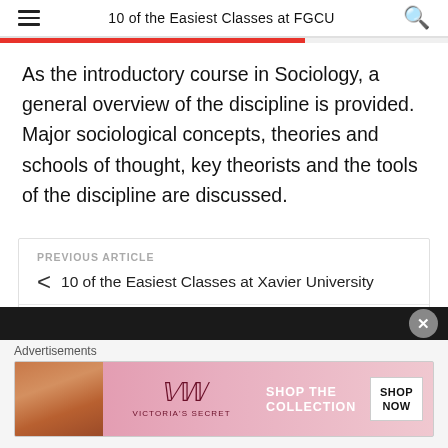10 of the Easiest Classes at FGCU
As the introductory course in Sociology, a general overview of the discipline is provided. Major sociological concepts, theories and schools of thought, key theorists and the tools of the discipline are discussed.
PREVIOUS ARTICLE
10 of the Easiest Classes at Xavier University
NEXT ARTICLE
[Figure (photo): Victoria's Secret advertisement banner with model, logo, 'SHOP THE COLLECTION' text and 'SHOP NOW' button]
Advertisements